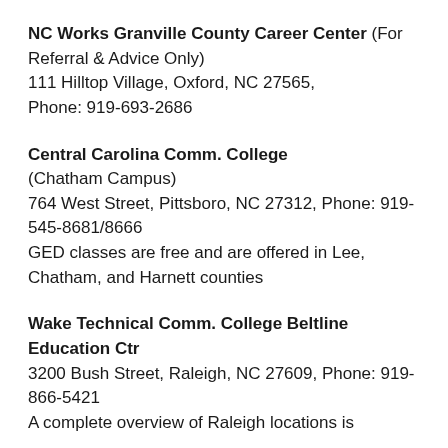NC Works Granville County Career Center (For Referral & Advice Only) 111 Hilltop Village, Oxford, NC 27565, Phone: 919-693-2686
Central Carolina Comm. College (Chatham Campus) 764 West Street, Pittsboro, NC 27312, Phone: 919-545-8681/8666 GED classes are free and are offered in Lee, Chatham, and Harnett counties
Wake Technical Comm. College Beltline Education Ctr 3200 Bush Street, Raleigh, NC 27609, Phone: 919-866-5421 A complete overview of Raleigh locations is